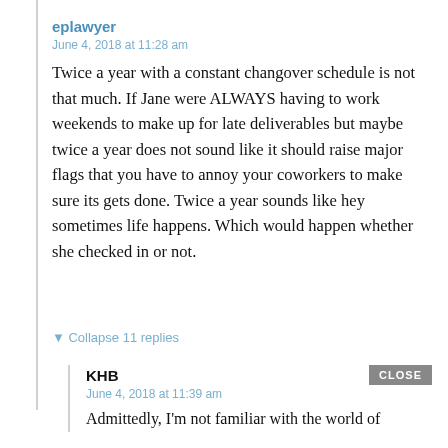eplawyer
June 4, 2018 at 11:28 am
Twice a year with a constant changover schedule is not that much. If Jane were ALWAYS having to work weekends to make up for late deliverables but maybe twice a year does not sound like it should raise major flags that you have to annoy your coworkers to make sure its gets done. Twice a year sounds like hey sometimes life happens. Which would happen whether she checked in or not.
▼ Collapse 11 replies
KHB
June 4, 2018 at 11:39 am
Admittedly, I'm not familiar with the world of